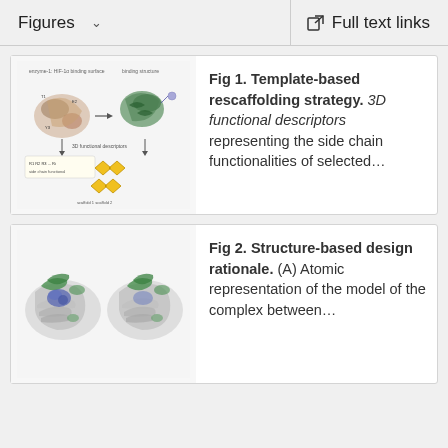Figures  ∨    Full text links
Fig 1. Template-based rescaffolding strategy. 3D functional descriptors representing the side chain functionalities of selected...
[Figure (illustration): Scientific diagram showing template-based rescaffolding strategy with protein structures, 3D functional descriptors, and chemical diagrams with yellow diamond shapes.]
Fig 2. Structure-based design rationale. (A) Atomic representation of the model of the complex between...
[Figure (illustration): Molecular structure image showing protein complex with green and blue/purple elements representing atomic model of protein-protein interaction.]